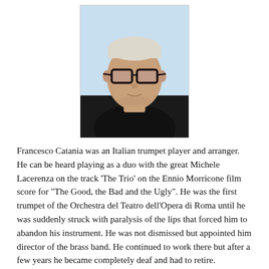[Figure (photo): Portrait photo of Francesco Catania, an elderly man with white/grey hair, large dark-framed glasses, wearing a black top, against a light blue background.]
Francesco Catania was an Italian trumpet player and arranger. He can be heard playing as a duo with the great Michele Lacerenza on the track ‘The Trio’ on the Ennio Morricone film score for “The Good, the Bad and the Ugly”. He was the first trumpet of the Orchestra del Teatro dell’Opera di Roma until he was suddenly struck with paralysis of the lips that forced him to abandon his instrument. He was not dismissed but appointed him director of the brass band. He continued to work there but after a few years he became completely deaf and had to retire.
Ennio Morricone commented on Catania, “Francesco was extraordinary, a great man, he could play pieces that were almost uplayable. In the already mentioned “The Good, the Bad and the Ugly”, for which I wrote very demanding parts for five different